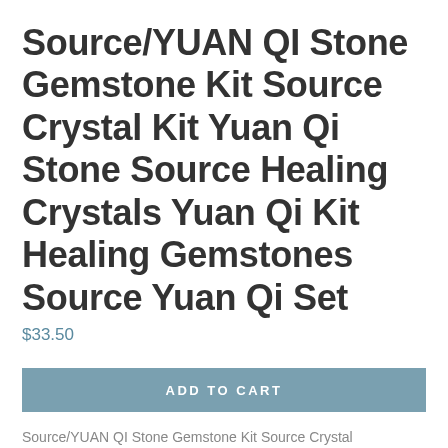Source/YUAN QI Stone Gemstone Kit Source Crystal Kit Yuan Qi Stone Source Healing Crystals Yuan Qi Kit Healing Gemstones Source Yuan Qi Set
$33.50
ADD TO CART
Source/YUAN QI Stone Gemstone Kit Source Crystal